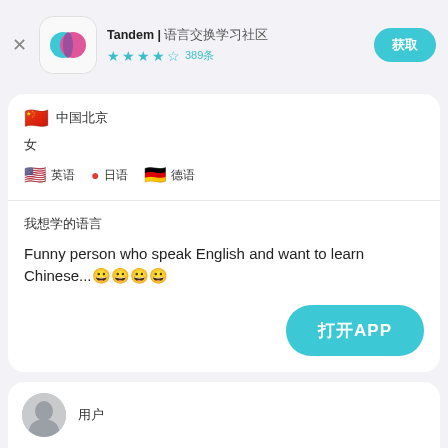Tandem | 语言交换学习社区
★★★★½ 389条
获取
🇨🇳 中国北京
女
🇺🇸 英语  🇯🇵 日语  🇩🇪 德语
我想学的语言
Funny person who speak English and want to learn Chinese...更多
打开APP
用户